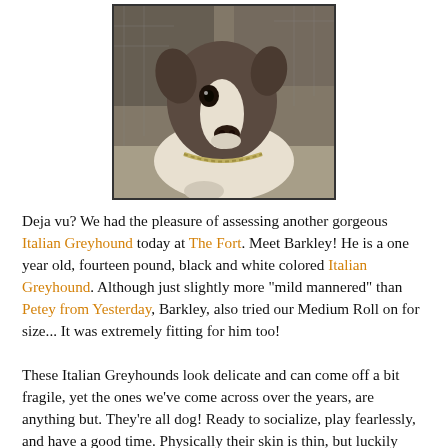[Figure (photo): Close-up photo of a black and white Italian Greyhound dog looking up at the camera, wearing a chain collar, with a chain-link fence in the background.]
Deja vu? We had the pleasure of assessing another gorgeous Italian Greyhound today at The Fort. Meet Barkley! He is a one year old, fourteen pound, black and white colored Italian Greyhound. Although just slightly more "mild mannered" than Petey from Yesterday, Barkley, also tried our Medium Roll on for size... It was extremely fitting for him too!
These Italian Greyhounds look delicate and can come off a bit fragile, yet the ones we've come across over the years, are anything but. They're all dog! Ready to socialize, play fearlessly, and have a good time. Physically their skin is thin, but luckily we've never had a problem with any of them.